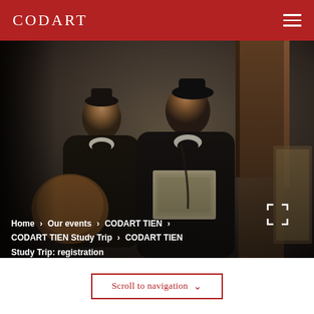CODART
[Figure (photo): Old Master painting showing two figures in dark robes — one holding papers/portfolio, another behind — in a dark interior setting with a door visible at right.]
Home › Our events › CODART TIEN › CODART TIEN Study Trip › CODART TIEN Study Trip: registration
Scroll to navigation ∨